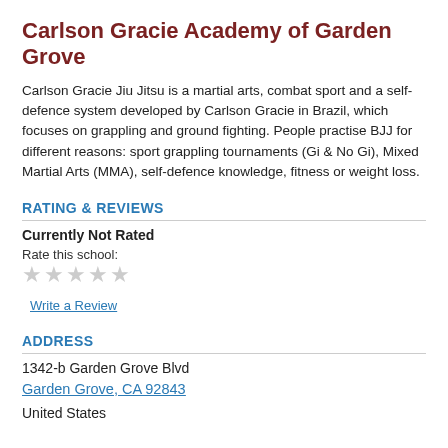Carlson Gracie Academy of Garden Grove
Carlson Gracie Jiu Jitsu is a martial arts, combat sport and a self-defence system developed by Carlson Gracie in Brazil, which focuses on grappling and ground fighting. People practise BJJ for different reasons: sport grappling tournaments (Gi & No Gi), Mixed Martial Arts (MMA), self-defence knowledge, fitness or weight loss.
RATING & REVIEWS
Currently Not Rated
Rate this school:
★★★★★ (empty stars)
Write a Review
ADDRESS
1342-b Garden Grove Blvd
Garden Grove, CA 92843
United States